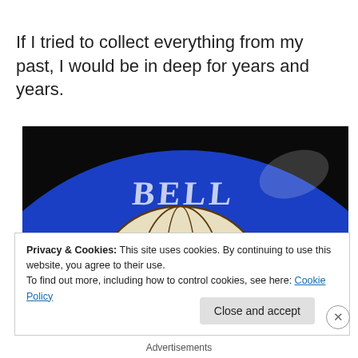If I tried to collect everything from my past, I would be in deep for years and years.
[Figure (photo): Close-up photo of a blue vinyl record label showing 'BELL' text and a globe/world logo design against a black background]
Privacy & Cookies: This site uses cookies. By continuing to use this website, you agree to their use.
To find out more, including how to control cookies, see here: Cookie Policy
Close and accept
Advertisements